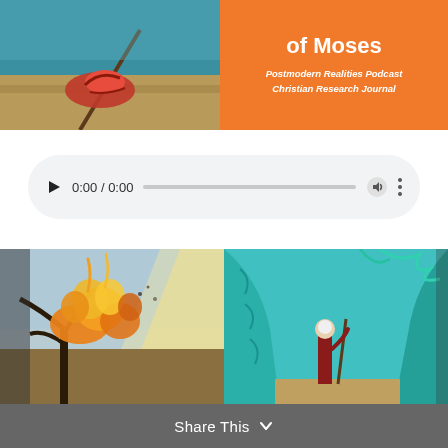[Figure (illustration): Top banner split into two halves: left shows illustration of a foot/sandal with red and teal colors; right shows orange background with bold white text 'of Moses' and subtitle lines 'Postmodern Realities Podcast' and 'Christian Research Journal']
[Figure (screenshot): Audio player widget on light gray pill-shaped background showing play button, time display '0:00 / 0:00', progress bar, volume icon, and more options icon]
[Figure (illustration): Bottom illustration split: left half shows burning bush illustration with orange and yellow flames and dark tree branches; right half shows Moses figure with staff against teal background with parting waters]
Share This